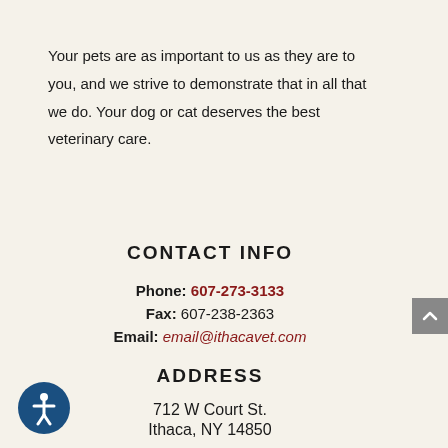Your pets are as important to us as they are to you, and we strive to demonstrate that in all that we do. Your dog or cat deserves the best veterinary care.
CONTACT INFO
Phone: 607-273-3133
Fax: 607-238-2363
Email: email@ithacavet.com
ADDRESS
712 W Court St.
Ithaca, NY 14850